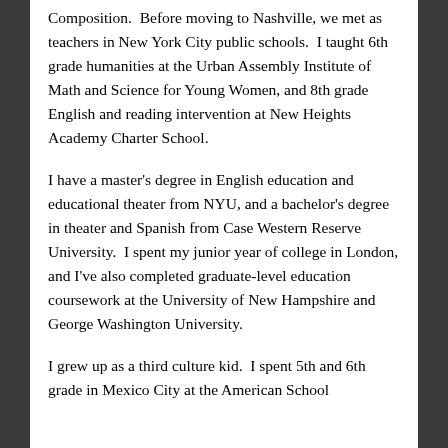Composition.  Before moving to Nashville, we met as teachers in New York City public schools.  I taught 6th grade humanities at the Urban Assembly Institute of Math and Science for Young Women, and 8th grade English and reading intervention at New Heights Academy Charter School.
I have a master's degree in English education and educational theater from NYU, and a bachelor's degree in theater and Spanish from Case Western Reserve University.  I spent my junior year of college in London, and I've also completed graduate-level education coursework at the University of New Hampshire and George Washington University.
I grew up as a third culture kid.  I spent 5th and 6th grade in Mexico City at the American School